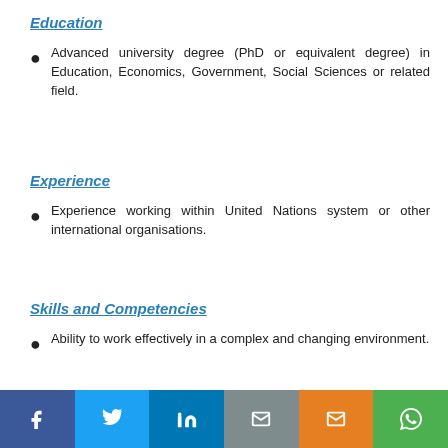Education
Advanced university degree (PhD or equivalent degree) in Education, Economics, Government, Social Sciences or related field.
Experience
Experience working within United Nations system or other international organisations.
Skills and Competencies
Ability to work effectively in a complex and changing environment.
[Figure (infographic): Social sharing bar with icons for Facebook, Twitter, LinkedIn, Email (two variants), and WhatsApp]